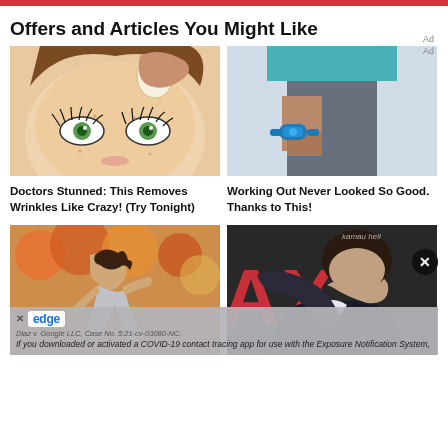Offers and Articles You Might Like
[Figure (photo): Illustration of a face with large green eyes and someone rubbing garlic on the skin]
Doctors Stunned: This Removes Wrinkles Like Crazy! (Try Tonight)
[Figure (photo): Photo of a woman in workout clothes with a fitness tracker on her wrist]
Working Out Never Looked So Good. Thanks to This!
[Figure (photo): Photo of a woman running outdoors in autumn]
[Figure (photo): Photo of a man covering his face with his arm, wearing a suit]
Diaz v. Google LLC, Case No. 5:21-cv-03080-NC. If you downloaded or activated a COVID-19 contact tracing app for use with the Exposure Notification System,